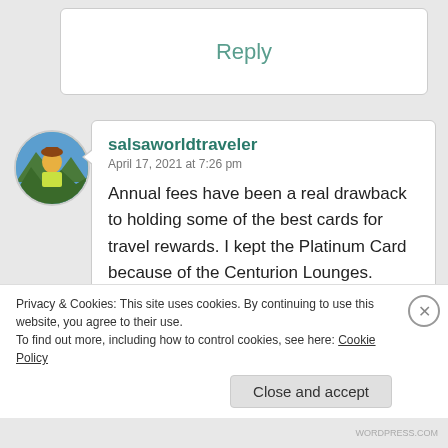Reply
salsaworldtraveler
April 17, 2021 at 7:26 pm
Annual fees have been a real drawback to holding some of the best cards for travel rewards. I kept the Platinum Card because of the Centurion Lounges.
Liked by 1 person
Privacy & Cookies: This site uses cookies. By continuing to use this website, you agree to their use.
To find out more, including how to control cookies, see here: Cookie Policy
Close and accept